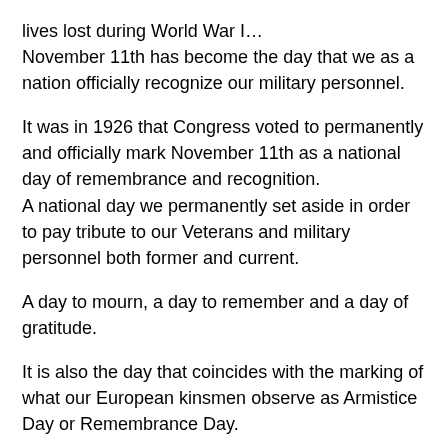lives lost during World War I…
November 11th has become the day that we as a nation officially recognize our military personnel.
It was in 1926 that Congress voted to permanently and officially mark November 11th as a national day of remembrance and recognition.
A national day we permanently set aside in order to pay tribute to our Veterans and military personnel both former and current.
A day to mourn, a day to remember and a day of gratitude.
It is also the day that coincides with the marking of what our European kinsmen observe as Armistice Day or Remembrance Day.
It is the day that will forever mark the ending of World War